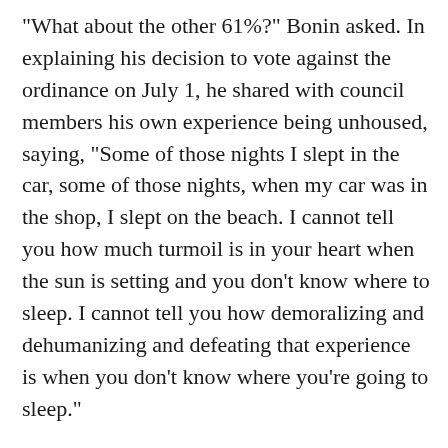"What about the other 61%?" Bonin asked. In explaining his decision to vote against the ordinance on July 1, he shared with council members his own experience being unhoused, saying, "Some of those nights I slept in the car, some of those nights, when my car was in the shop, I slept on the beach. I cannot tell you how much turmoil is in your heart when the sun is setting and you don't know where to sleep. I cannot tell you how demoralizing and dehumanizing and defeating that experience is when you don't know where you're going to sleep."
He said the ordinance tells people where they cannot sleep, but it doesn't tell them where they can sleep.
"That's what it comes down to for me … where can people go, where can people sleep when they do not